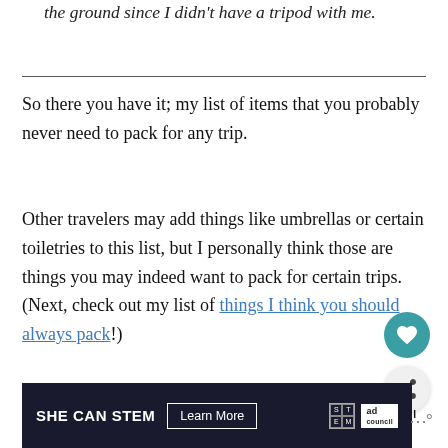the ground since I didn't have a tripod with me.
So there you have it; my list of items that you probably never need to pack for any trip.
Other travelers may add things like umbrellas or certain toiletries to this list, but I personally think those are things you may indeed want to pack for certain trips. (Next, check out my list of things I think you should always pack!)
[Figure (screenshot): SHE CAN STEM advertisement banner with Learn More button and ad council logo]